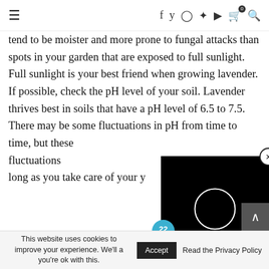≡   f  y  Instagram  Pinterest  YouTube  🛒0  🔍
tend to be moister and more prone to fungal attacks than spots in your garden that are exposed to full sunlight. Full sunlight is your best friend when growing lavender. If possible, check the pH level of your soil. Lavender thrives best in soils that have a pH level of 6.5 to 7.5. There may be some fluctuations in pH from time to time, but these fluctuations long as you take care of your y
[Figure (screenshot): Black video player overlay with circular loading indicator and close button (X)]
[Figure (logo): 22 Words circular teal logo badge]
37 GENIUS AMAZON PRODUCTS THAT CAN BE USED BY ANYONE
[Figure (other): reCAPTCHA verification box]
This website uses cookies to improve your experience. We'll a you're ok with this. Accept Read the Privacy Policy